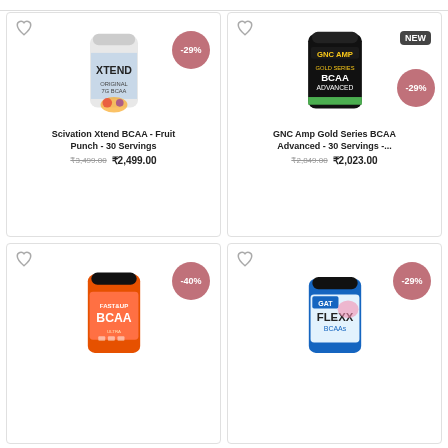[Figure (other): Product card: Scivation Xtend BCAA - Fruit Punch - 30 Servings, -29% badge, heart icon, old price ₹3,499.00, new price ₹2,499.00]
[Figure (other): Product card: GNC Amp Gold Series BCAA Advanced - 30 Servings - ..., NEW badge, -29% badge, heart icon, old price ₹2,849.00, new price ₹2,023.00]
[Figure (other): Product card: Fast&Up BCAA (partial), -40% badge, heart icon]
[Figure (other): Product card: GAT Flexx BCAAs (partial), -29% badge, heart icon]